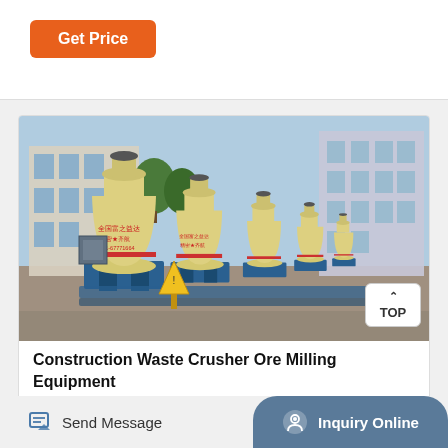Get Price
[Figure (photo): Row of yellow ore milling machines (Raymond mills) with blue bases lined up in a factory yard, with industrial buildings and trees in the background. A yellow caution sign is visible in the foreground. A 'TOP' navigation button overlay appears in the bottom-right corner of the image.]
Construction Waste Crusher Ore Milling Equipment
Send Message
Inquiry Online